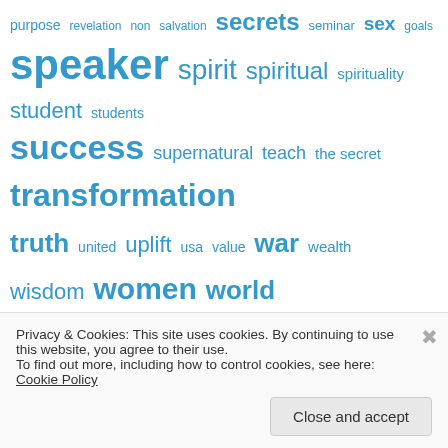[Figure (other): Tag cloud with words: purpose revelation non salvation secrets seminar sex goals speaker spirit spiritual spirituality student students success supernatural teach the secret transformation truth united uplift usa value war wealth wisdom women world — in varying blue font sizes]
Recent Comments
[Figure (other): Avatar icon for Carter — geometric green pattern]
Carter on 1and1.com auto renewal cancell…
[Figure (other): Avatar icon for Joe — geometric teal pattern]
Joe on 1and1.com auto renewal cancell…
Privacy & Cookies: This site uses cookies. By continuing to use this website, you agree to their use.
To find out more, including how to control cookies, see here: Cookie Policy
Close and accept